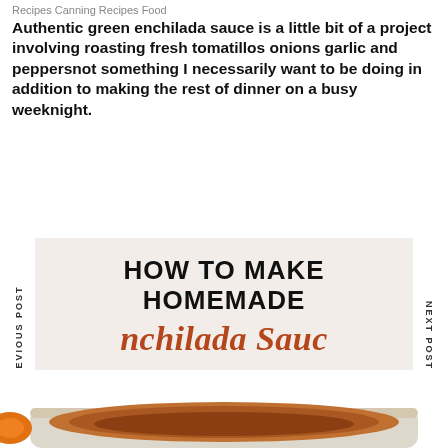Recipes Canning Recipes Food
Authentic green enchilada sauce is a little bit of a project involving roasting fresh tomatillos onions garlic and peppersnot something I necessarily want to be doing in addition to making the rest of dinner on a busy weeknight.
PREVIOUS POST
NEXT POST
[Figure (illustration): Promotional image for 'How to Make Homemade Enchilada Sauce' showing styled text on a cream background with a script font for 'enchilada Sauce' in rust/brown color, and a photo of a pot of enchilada sauce below.]